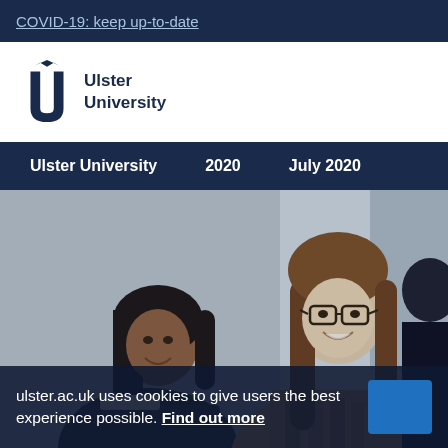COVID-19: keep up-to-date
[Figure (logo): Ulster University logo with stylized U letterform and bird motif, text reads Ulster University]
Ulster University   2020   July 2020
[Figure (photo): Two female students sitting in a classroom, smiling. One with dark hair in a black hoodie on the left, one with long brown hair and glasses wearing a scarf on the right.]
ulster.ac.uk uses cookies to give users the best experience possible. Find out more